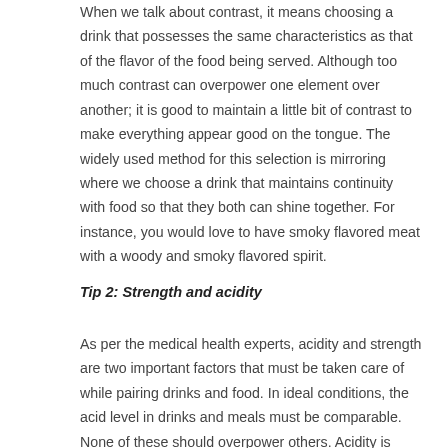When we talk about contrast, it means choosing a drink that possesses the same characteristics as that of the flavor of the food being served. Although too much contrast can overpower one element over another; it is good to maintain a little bit of contrast to make everything appear good on the tongue. The widely used method for this selection is mirroring where we choose a drink that maintains continuity with food so that they both can shine together. For instance, you would love to have smoky flavored meat with a woody and smoky flavored spirit.
Tip 2: Strength and acidity
As per the medical health experts, acidity and strength are two important factors that must be taken care of while pairing drinks and food. In ideal conditions, the acid level in drinks and meals must be comparable. None of these should overpower others. Acidity is capable enough to contrast food